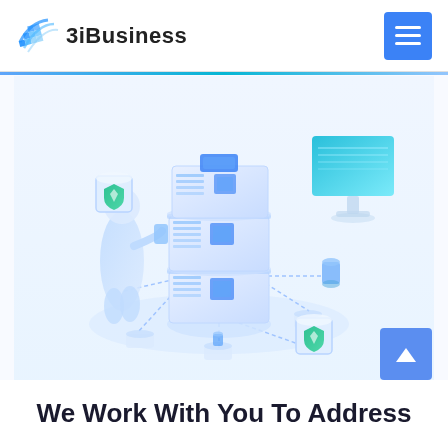3iBusiness
[Figure (illustration): Isometric illustration showing a server stack in the center with a human figure on the left interacting with it, a monitor/screen on the upper right, floating data cubes with shield/gem icons, connected by lines on a light blue/white background. Technology and cloud computing themed illustration.]
We Work With You To Address